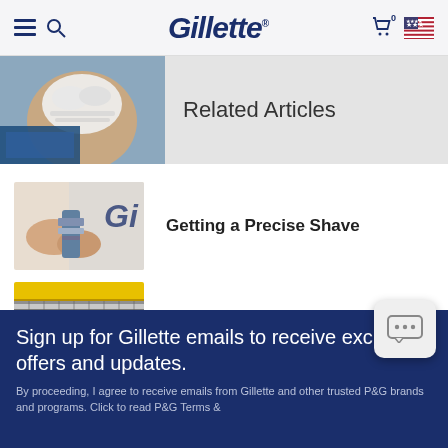Gillette — navigation header with hamburger menu, search, cart (0), and US flag
Related Articles
[Figure (photo): Man with shaving cream on face, partial view]
[Figure (photo): Hands holding a Gillette razor cartridge with Gillette logo visible]
Getting a Precise Shave
[Figure (photo): Close-up of a yellow and silver Gillette razor head (ProShield/Fusion style)]
Caring For My Razor
Sign up for Gillette emails to receive exclusive offers and updates.
By proceeding, I agree to receive emails from Gillette and other trusted P&G brands and programs. Click to read P&G Terms &